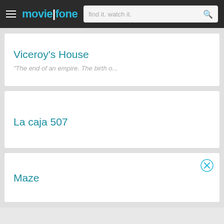moviefone — find it. watch it.
Viceroy's House
"The end of an empire. The birth o...
La caja 507
Maze